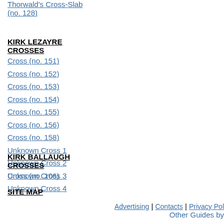Thorwald's Cross-Slab (no. 128)
KIRK LEZAYRE CROSSES
Cross (no. 151)
Cross (no. 152)
Cross (no. 153)
Cross (no. 154)
Cross (no. 155)
Cross (no. 156)
Cross (no. 158)
Unknown Cross 1
Unknown Cross 2
Unknown Cross 3
Unknown Cross 4
KIRK BALLAUGH CROSSES
Cross (no. 106)
SITE MAP
Advertising | Contacts | Privacy Pol... Other Guides by...